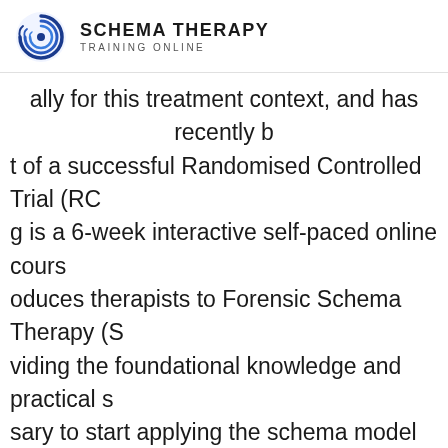SCHEMA THERAPY TRAINING ONLINE
ally for this treatment context, and has recently b t of a successful Randomised Controlled Trial (RC g is a 6-week interactive self-paced online cours oduces therapists to Forensic Schema Therapy (S viding the foundational knowledge and practical s sary to start applying the schema model with offe populations. Participants will learn to recognize the forensic mpensation modes as they often present, and lea onceptualise offence risk behaviour including cas violence, sexual violence, sadism, and psychopathy. Case Examples will illustrate the us schema mode model to understand violent and s